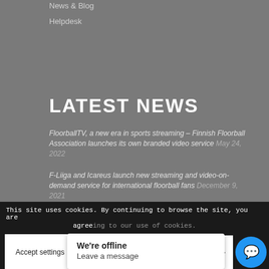News & Blog
Helpdesk
LATEST NEWS
FloorballTV, a new era in sports streaming – Finnish Floorball Association launches its own branded video service May 24, 2022
F-Liiga and Icareus launch new streaming and video-on-demand service for international floorball fans December 9, 2021
Icareus to Provide its Playout EPG Solution to Asharq News October 7, 2021
Making Framework for Video Academy...
This site uses cookies. By continuing to browse the site, you are agreeing to our use of cookies.
Accept settings
We're offline
Leave a message